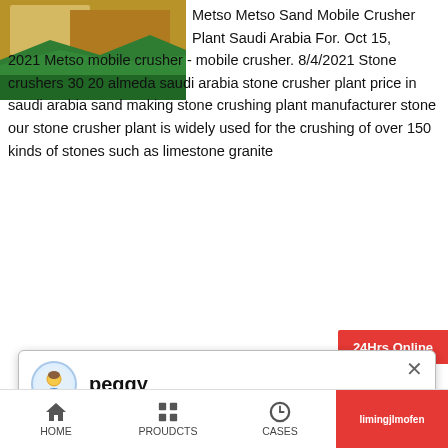[Figure (photo): Photo of stone/rock material with green water or surface, product image for crusher plant]
Metso Metso Sand Mobile Crusher Plant Saudi Arabia For. Oct 15, 2021 Metso mobile crusher - mobile crusher. 8/4/2021 Stone crushers 30 20 almeda saudi arabia stone crusher plant price in saudi arabia sand making stone crushing plant manufacturer stone our stone crusher plant is widely used for the crushing of over 150 kinds of stones such as limestone granite
[Figure (screenshot): Chat popup with avatar of agent named 'peggy'. Message reads: Welcome, please choose: 1.English 2.Русский 3.Français 4.Español 5.bahasa Indonesia 6...عء]
<< Previous:Frankie Sbm Sbmchina Com
>> Next:Large Capacity And Iso9001 2000 Li Ne M
grinding mill cost grinding mill in sweden
HOME   PROUDCTS   CASES   limingjlmofen